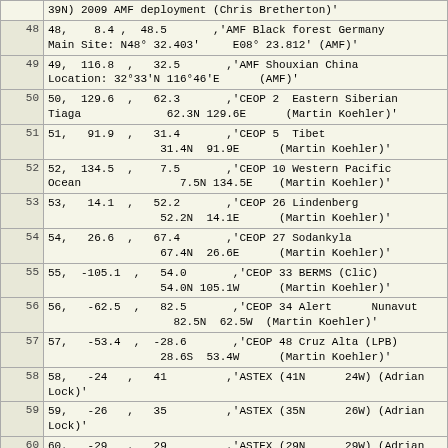| # | Content |
| --- | --- |
|  | 39N) 2009 AMF deployment (Chris Bretherton)' |
| 48 | 48,    8.4  ,  48.5       ,'AMF Black forest Germany Main Site: N48° 32.403'     E08° 23.812' (AMF)' |
| 49 | 49,  116.8  ,  32.5       ,'AMF Shouxian China Location: 32°33'N 116°46'E       (AMF)' |
| 50 | 50,  129.6  ,  62.3       ,'CEOP 2  Eastern Siberian Tiaga           62.3N 129.6E      (Martin Koehler)' |
| 51 | 51,   91.9  ,  31.4       ,'CEOP 5  Tibet              31.4N  91.9E      (Martin Koehler)' |
| 52 | 52,  134.5  ,   7.5       ,'CEOP 10 Western Pacific Ocean            7.5N 134.5E    (Martin Koehler)' |
| 53 | 53,   14.1  ,  52.2       ,'CEOP 26 Lindenberg              52.2N  14.1E      (Martin Koehler)' |
| 54 | 54,   26.6  ,  67.4       ,'CEOP 27 Sodankyla           67.4N  26.6E      (Martin Koehler)' |
| 55 | 55, -105.1  ,  54.0       ,'CEOP 33 BERMS (CliC)        54.0N 105.1W     (Martin Koehler)' |
| 56 | 56,  -62.5  ,  82.5       ,'CEOP 34 Alert    Nunavut         82.5N  62.5W  (Martin Koehler)' |
| 57 | 57,  -53.4  , -28.6       ,'CEOP 48 Cruz Alta (LPB)         28.6S  53.4W      (Martin Koehler)' |
| 58 | 58,   -24   ,  41         ,'ASTEX (41N     24W) (Adrian Lock)' |
| 59 | 59,   -26   ,  35         ,'ASTEX (35N     26W) (Adrian Lock)' |
| 60 | 60,   -29   ,  29         ,'ASTEX (29N     29W) (Adrian Lock)' |
| 61 | 61,   -35   ,  12         ,'ATEX      = 12N     35W (Adrian Lock)' |
| 62 | 62,  -56.5  ,  15         ,'BOMEX      = 15N     56.5W (Adrian Lock)' |
| 63 | 63,  -61.5  ,  18         ,'RICO      = 18N     61.5W (Adrian Lock)' |
| 64 | 64, -119.5  ,  33         ,'EUROCS/FIREI = 33N  119.5W (Adrian Lock)' |